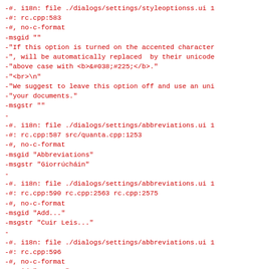-#. i18n: file ./dialogs/settings/styleoptionss.ui 1
-#: rc.cpp:583
-#, no-c-format
-msgid ""
-"If this option is turned on the accented character
-", will be automatically replaced  by their unicode
-"above case with <b>&#038;#225;</b>."
-"<br>\n"
-"We suggest to leave this option off and use an uni
-"your documents."
-msgstr ""
-
-#. i18n: file ./dialogs/settings/abbreviations.ui 1
-#: rc.cpp:587 src/quanta.cpp:1253
-#, no-c-format
-msgid "Abbreviations"
-msgstr "Giorrúcháin"
-
-#. i18n: file ./dialogs/settings/abbreviations.ui 1
-#: rc.cpp:590 rc.cpp:2563 rc.cpp:2575
-#, no-c-format
-msgid "Add..."
-msgstr "Cuir Leis..."
-
-#. i18n: file ./dialogs/settings/abbreviations.ui 1
-#: rc.cpp:596
-#, no-c-format
-msgid "&New..."
-msgstr "&Nua..."
-